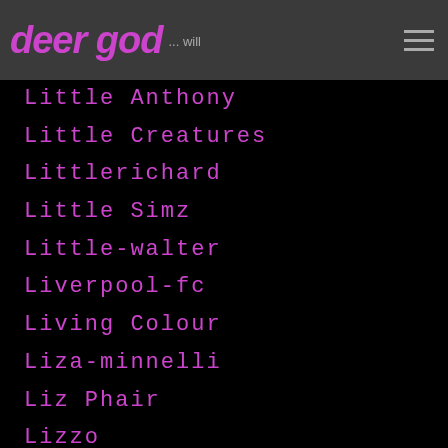deer god | ...
Little Anthony
Little Creatures
Littlerichard
Little Simz
Little-walter
Liverpool-fc
Living Colour
Liza-minnelli
Liz Phair
Lizzo
Lizzy-goodman
Lizzy-mercier-descloux
Lj Avalos
Lloyd Coxsone
Lock Up
Locust
Logan-olberg